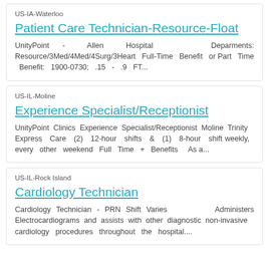US-IA-Waterloo
Patient Care Technician-Resource-Float
UnityPoint - Allen Hospital Deparments: Resource/3Med/4Med/4Surg/3Heart Full-Time Benefit or Part Time Benefit: 1900-0730; .15 - .9 FT...
US-IL-Moline
Experience Specialist/Receptionist
UnityPoint Clinics Experience Specialist/Receptionist Moline Trinity Express Care (2) 12-hour shifts & (1) 8-hour shift weekly, every other weekend Full Time + Benefits  As a...
US-IL-Rock Island
Cardiology Technician
Cardiology Technician - PRN Shift Varies     Administers Electrocardiograms and assists with other diagnostic non-invasive cardiology procedures throughout the hospital....